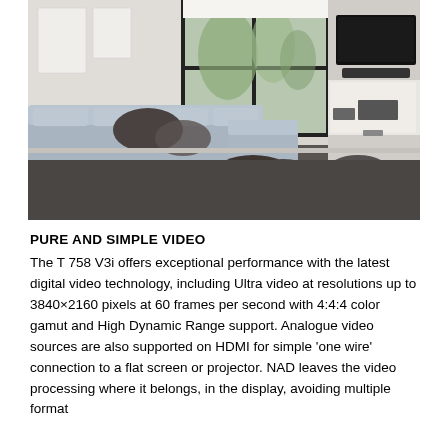[Figure (photo): A modern living room with a light grey sectional sofa, dark round ottoman poufs on a dark carpet, a window with trees outside, a flat screen TV mounted on the wall with audio equipment on a white floating shelf unit.]
PURE AND SIMPLE VIDEO
The T 758 V3i offers exceptional performance with the latest digital video technology, including Ultra video at resolutions up to 3840×2160 pixels at 60 frames per second with 4:4:4 color gamut and High Dynamic Range support. Analogue video sources are also supported on HDMI for simple 'one wire' connection to a flat screen or projector. NAD leaves the video processing where it belongs, in the display, avoiding multiple format